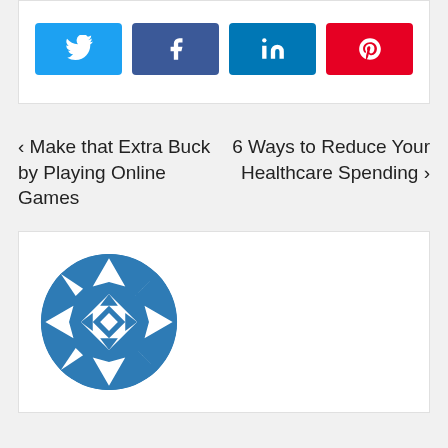[Figure (other): Social media share buttons: Twitter (light blue), Facebook (dark blue), LinkedIn (dark navy blue), Pinterest (red), each with their respective icons]
‹ Make that Extra Buck by Playing Online Games
6 Ways to Reduce Your Healthcare Spending ›
[Figure (logo): A circular logo with a blue and white geometric/diamond pattern forming an abstract flower or pinwheel shape]